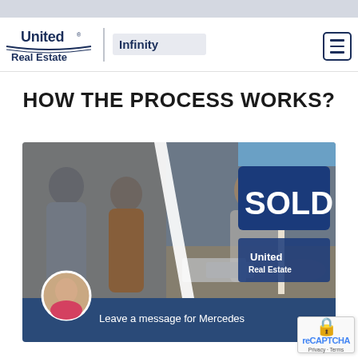United Real Estate | Infinity
HOW THE PROCESS WORKS?
[Figure (photo): Real estate photo collage showing three panels: left panel with two people at a door greeting each other, center panel with a woman reviewing documents at a table, right panel with a 'SOLD' yard sign branded with United Real Estate logo. A blue chat overlay bar at the bottom reads 'Leave a message for Mercedes' with an agent's circular photo.]